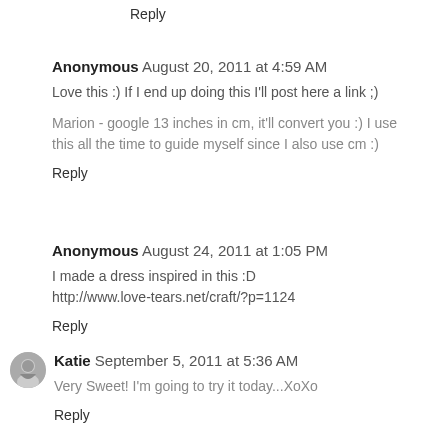Reply
Anonymous August 20, 2011 at 4:59 AM
Love this :) If I end up doing this I'll post here a link ;)
Marion - google 13 inches in cm, it'll convert you :) I use this all the time to guide myself since I also use cm :)
Reply
Anonymous August 24, 2011 at 1:05 PM
I made a dress inspired in this :D http://www.love-tears.net/craft/?p=1124
Reply
Katie September 5, 2011 at 5:36 AM
Very Sweet! I'm going to try it today...XoXo
Reply